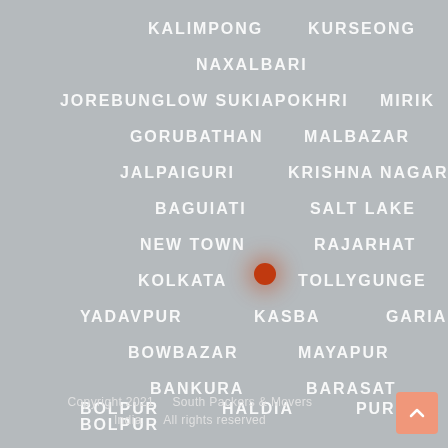[Figure (map): A stylized map background showing place names in West Bengal, India, centered on Kolkata, with an orange dot marker at the center]
Copyright 2021   South Packers & Movers India   All rights reserved